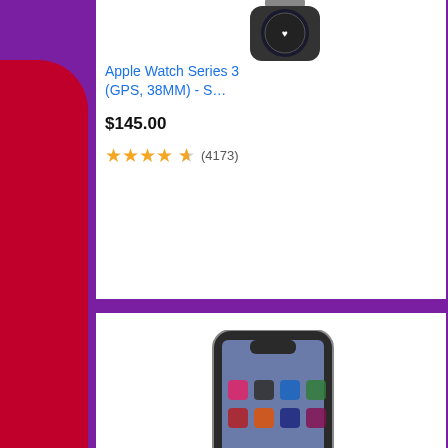[Figure (screenshot): Apple Watch Series 3 product image (partial, top of watch visible)]
Apple Watch Series 3 (GPS, 38MM) - S…
$145.00
★★★★½ (4173)
[Figure (screenshot): Apple iPhone X smartphone product image]
Apple Iphone X, 256GB, Space Gray -…
$294.00
★★★★★ (partial)
BRANDO HOO
[Figure (photo): Black and white photo of Marlon Brando smiling, wearing dark jacket]
[Figure (infographic): ULTA Beauty advertisement banner at bottom showing makeup images and SHOP NOW call to action]